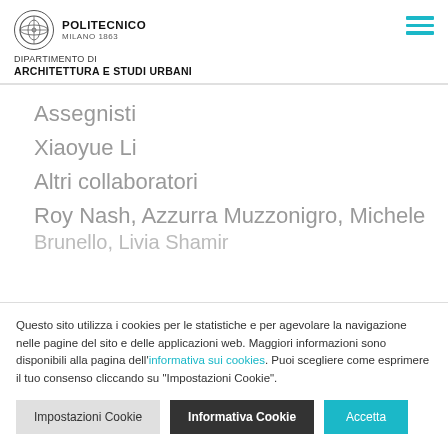POLITECNICO MILANO 1863 — DIPARTIMENTO DI ARCHITETTURA E STUDI URBANI
Assegnisti
Xiaoyue Li
Altri collaboratori
Roy Nash, Azzurra Muzzonigro, Michele Brunello, Livia Shamir
Questo sito utilizza i cookies per le statistiche e per agevolare la navigazione nelle pagine del sito e delle applicazioni web. Maggiori informazioni sono disponibili alla pagina dell'informativa sui cookies. Puoi scegliere come esprimere il tuo consenso cliccando su "Impostazioni Cookie".